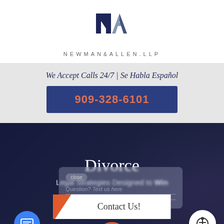[Figure (logo): Newman & Allen LLP logo with angular N and A letterforms in dark navy and silver]
NEWMAN&ALLEN.LLP
We Accept Calls 24/7 | Se Habla Español
909-328-6101
Divorce
Legal Strategies Designed to Win
Question? Text us here
Contact Us!